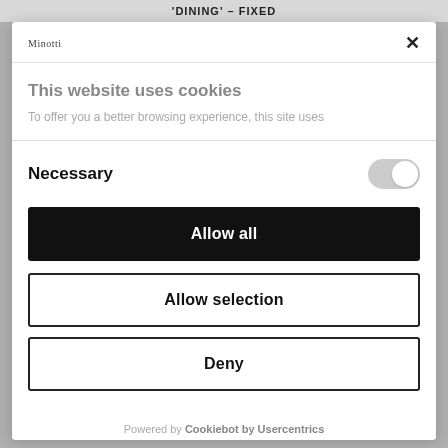'DINING' - FIXED
Minotti
This website uses cookies
To offer you a better browsing experience, this site uses
Necessary
Allow all
Allow selection
Deny
Powered by Cookiebot by Usercentrics